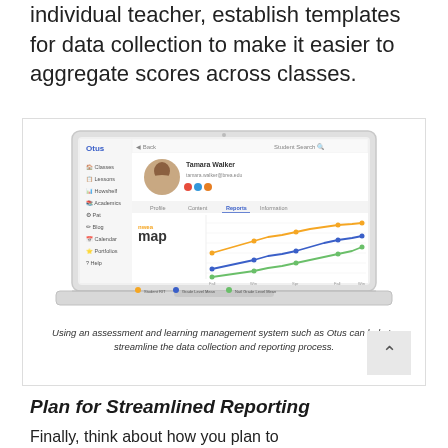individual teacher, establish templates for data collection to make it easier to aggregate scores across classes.
[Figure (screenshot): Laptop screen showing the Otus learning management system with a student profile for Tamara Walker and a NWEA MAP growth chart with three trend lines (blue, yellow, green).]
Using an assessment and learning management system such as Otus can help to streamline the data collection and reporting process.
Plan for Streamlined Reporting
Finally, think about how you plan to